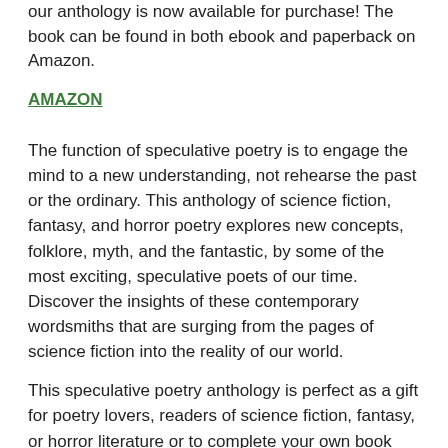our anthology is now available for purchase! The book can be found in both ebook and paperback on Amazon.
AMAZON
The function of speculative poetry is to engage the mind to a new understanding, not rehearse the past or the ordinary. This anthology of science fiction, fantasy, and horror poetry explores new concepts, folklore, myth, and the fantastic, by some of the most exciting, speculative poets of our time. Discover the insights of these contemporary wordsmiths that are surging from the pages of science fiction into the reality of our world.
This speculative poetry anthology is perfect as a gift for poetry lovers, readers of science fiction, fantasy, or horror literature or to complete your own book collections.
Speculative Poets represented in this anthology: